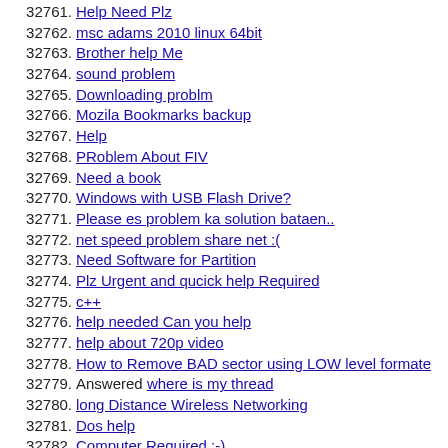32761. Help Need Plz
32762. msc adams 2010 linux 64bit
32763. Brother help Me
32764. sound problem
32765. Downloading problm
32766. Mozila Bookmarks backup
32767. Help
32768. PRoblem About FIV
32769. Need a book
32770. Windows with USB Flash Drive?
32771. Please es problem ka solution bataen..
32772. net speed problem share net :(
32773. Need Software for Partition
32774. Plz Urgent and qucick help Required
32775. c++
32776. help needed Can you help
32777. help about 720p video
32778. How to Remove BAD sector using LOW level formate
32779. Answered where is my thread
32780. long Distance Wireless Networking
32781. Dos help
32782. Computer Required :-)
32783. help dy dein mujhe choti si hai
32784. TV tuner plz help
32785. Need software
32786. PDF to Word/Excel Convertor
32787. Need Quran
32788. Istall sound driver
32789. help me Sir
32790. plz help